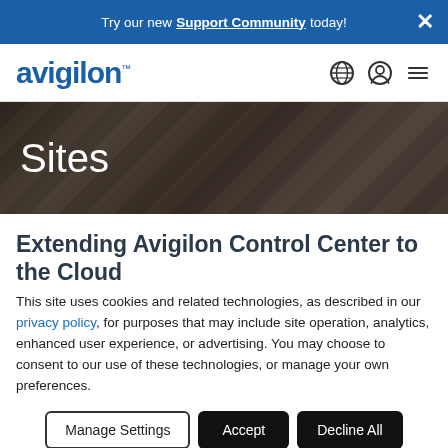Try our new Support Community today!
[Figure (logo): Avigilon logo in blue text with globe, user, and menu icons]
[Figure (photo): Hero banner with 'Sites' text overlaid on a dark abstract/camera background]
Extending Avigilon Control Center to the Cloud
This site uses cookies and related technologies, as described in our privacy policy, for purposes that may include site operation, analytics, enhanced user experience, or advertising. You may choose to consent to our use of these technologies, or manage your own preferences.
Manage Settings | Accept | Decline All